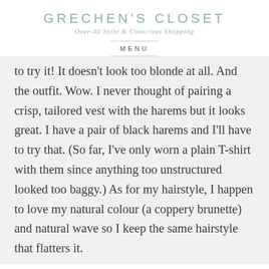GRECHEN'S CLOSET
Over-40 Style & Conscious Shopping
MENU
to try it! It doesn't look too blonde at all. And the outfit. Wow. I never thought of pairing a crisp, tailored vest with the harems but it looks great. I have a pair of black harems and I'll have to try that. (So far, I've only worn a plain T-shirt with them since anything too unstructured looked too baggy.) As for my hairstyle, I happen to love my natural colour (a coppery brunette) and natural wave so I keep the same hairstyle that flatters it.